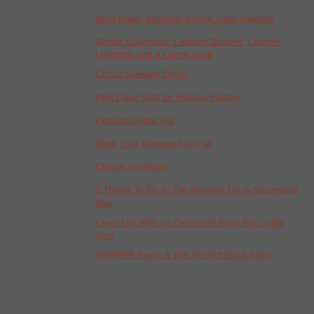Must Have: TopShop Check Tunic Sweater
Winter Essentials: Leopard Booties, Leather Leggings and a Camel Coat
Cutout Sweater Dress
Pink Flare Skirt for Holiday Parties
Fabulous Faux Fur
Wear Your Romper Into Fall
Classic Cardigan
5 Things To Do In The Morning For A Successful Day
Layer Up! With an Oversized Faux Fur Collar Vest
HARPER Event & The Perfect Black Maxi